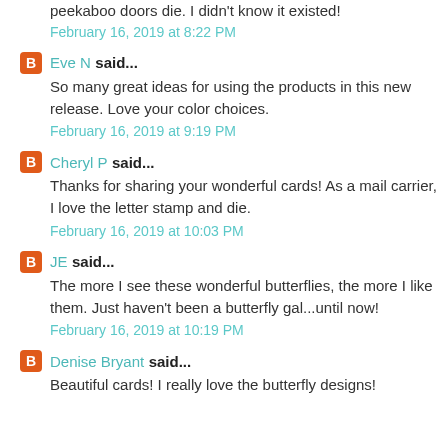peekaboo doors die. I didn't know it existed!
February 16, 2019 at 8:22 PM
Eve N said...
So many great ideas for using the products in this new release. Love your color choices.
February 16, 2019 at 9:19 PM
Cheryl P said...
Thanks for sharing your wonderful cards! As a mail carrier, I love the letter stamp and die.
February 16, 2019 at 10:03 PM
JE said...
The more I see these wonderful butterflies, the more I like them. Just haven't been a butterfly gal...until now!
February 16, 2019 at 10:19 PM
Denise Bryant said...
Beautiful cards! I really love the butterfly designs!